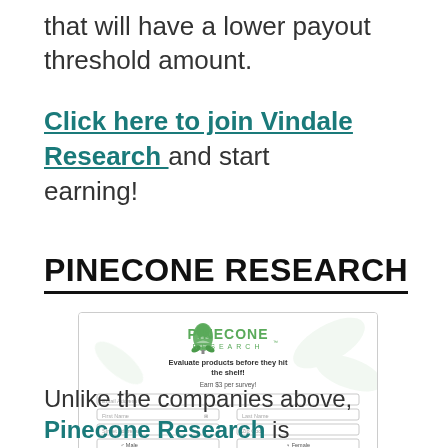that will have a lower payout threshold amount.
Click here to join Vindale Research and start earning!
PINECONE RESEARCH
[Figure (screenshot): Pinecone Research website signup form showing logo, tagline 'Evaluate products before they hit the shelf!', 'Earn $3 per survey!', and form fields for Email Address, First Name, Last Name, Street Address, Zip Code, Male/Female radio, Date of Birth (Month/Day/Year), and Do you... dropdown.]
Unlike the companies above, Pinecone Research is